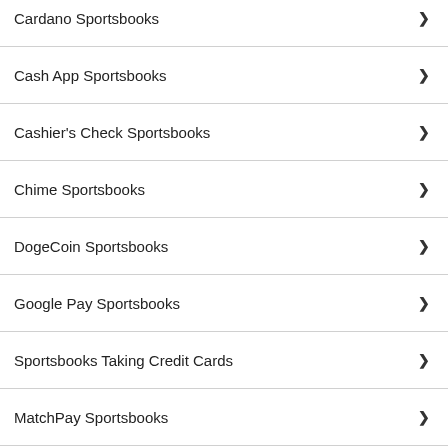Cardano Sportsbooks
Cash App Sportsbooks
Cashier's Check Sportsbooks
Chime Sportsbooks
DogeCoin Sportsbooks
Google Pay Sportsbooks
Sportsbooks Taking Credit Cards
MatchPay Sportsbooks
Money Order Sportsbooks
Paypal Sportsbooks
Polygon Sportsbooks
Ria Sportsbooks